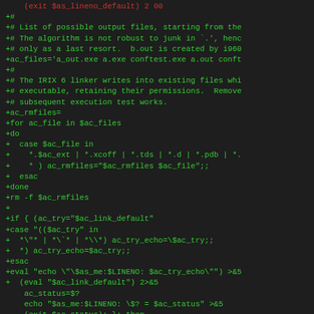Code diff showing shell script additions for autoconf configuration, including file listing, IRIX linker handling, and link default evaluation logic.